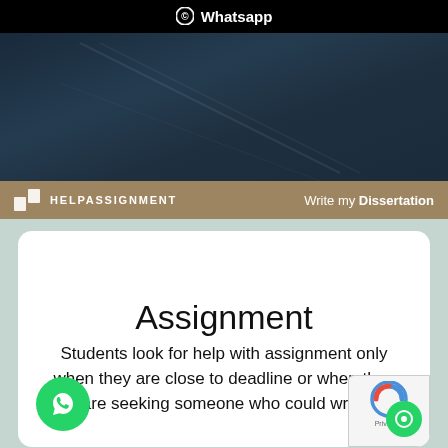Whatsapp
[Figure (photo): Dark blue/grey textured banner background resembling a road or surface with faint diagonal lines]
HELPASSIGNMENT   Write my Dissertation
Assignment
Students look for help with assignment only when they are close to deadline or when they are seeking someone who could write better than them. The best way to avail best